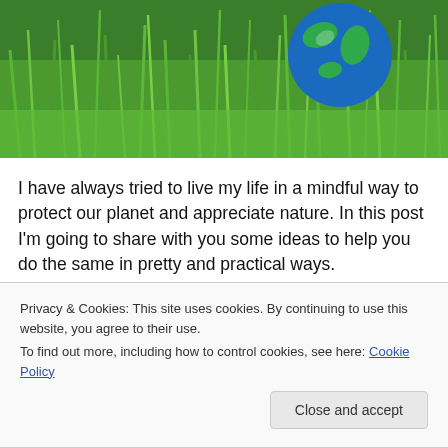[Figure (photo): Photo of green grass with a blue and white Earth globe resting among the blades of grass, suggesting environmental/nature theme.]
I have always tried to live my life in a mindful way to protect our planet and appreciate nature. In this post I'm going to share with you some ideas to help you do the same in pretty and practical ways.
Use cloth napkins and tablecloths both indoors and out.
Grow your own food, even if it's herbs in pots on your…
Privacy & Cookies: This site uses cookies. By continuing to use this website, you agree to their use.
To find out more, including how to control cookies, see here: Cookie Policy